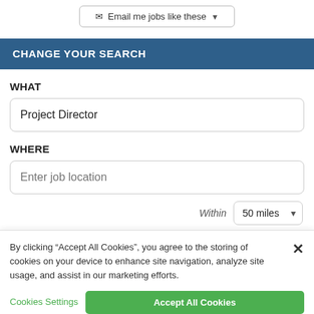[Figure (screenshot): Email me jobs like these button with dropdown arrow]
CHANGE YOUR SEARCH
WHAT
Project Director
WHERE
Enter job location
Within   50 miles
By clicking “Accept All Cookies”, you agree to the storing of cookies on your device to enhance site navigation, analyze site usage, and assist in our marketing efforts.
Cookies Settings
Accept All Cookies